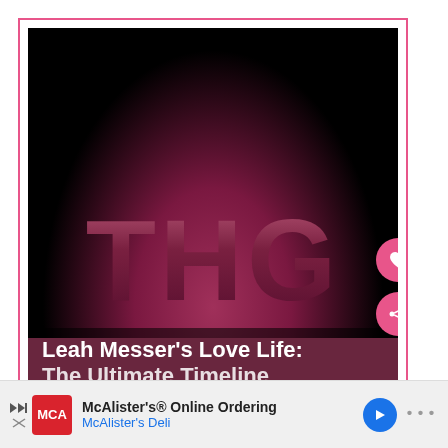[Figure (logo): THG logo: large bold letters T H G in dark mauve/pink on a black background with pink radial glow at the bottom, surrounded by a hot-pink border frame]
Leah Messer's Love Life: The Ultimate Timeline...
[Figure (screenshot): McAlister's Deli advertisement bar at bottom: McAlister's® Online Ordering / McAlister's Deli with navigation and menu icons]